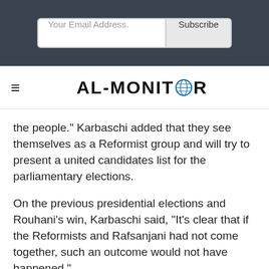[Figure (screenshot): Email subscription bar with input field labeled 'Your Email Address.' and a 'Subscribe' button on a dark background]
[Figure (logo): AL-MONITOR logo with globe icon replacing the letter O, on white background with hamburger menu icon]
the people.” Karbaschi added that they see themselves as a Reformist group and will try to present a united candidates list for the parliamentary elections.
On the previous presidential elections and Rouhani’s win, Karbaschi said, “It’s clear that if the Reformists and Rafsanjani had not come together, such an outcome would not have happened.”